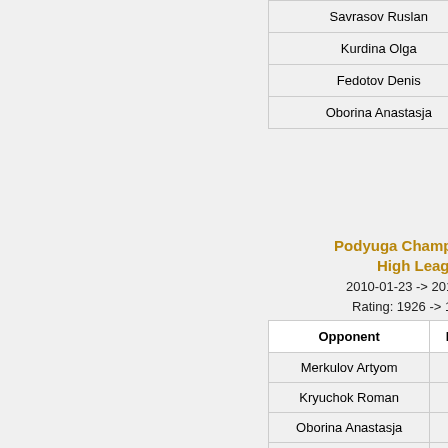| Opponent | Rating |
| --- | --- |
| Savrasov Ruslan | 1624 |
| Kurdina Olga | 1772 |
| Fedotov Denis | 1558 |
| Oborina Anastasja | 1787 |
Podyuga Championship, High League
2010-01-23 -> 2010-02-06
Rating: 1926 -> 1919.77
| Opponent | Rating | Round |
| --- | --- | --- |
| Merkulov Artyom | 2129 | 1 |
| Kryuchok Roman | 1986 | 2 |
| Oborina Anastasja | 1839 | 3 |
| Kurdina Olga | 1715 | 4 |
| Lysakov Mikhail | 2217 | 5 |
| Serdyukov Egor | 2163 | 6 |
| Okatova Anna | 1928 | 7 |
| Maximov Nikolay | 1916 | 8 |